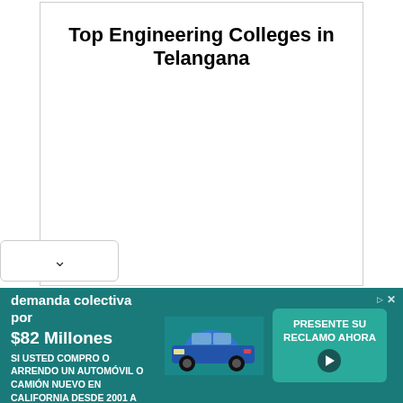Top Engineering Colleges in Telangana
[Figure (other): Advertisement banner: Acuerdo de la demanda colectiva por $82 Millones - SI USTED COMPRO O ARRENDO UN AUTOMÓVIL O CAMIÓN NUEVO EN CALIFORNIA DESDE 2001 A 2003. Shows a car image and CTA button 'PRESENTE SU RECLAMO AHORA']